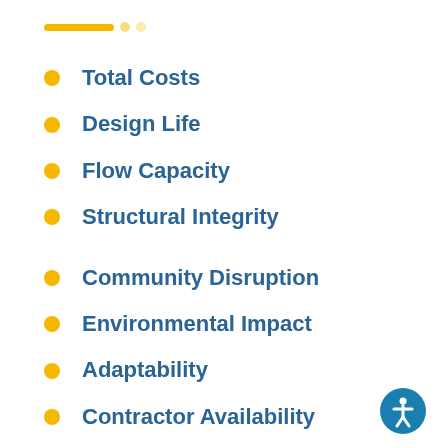Total Costs
Design Life
Flow Capacity
Structural Integrity
Community Disruption
Environmental Impact
Adaptability
Contractor Availability